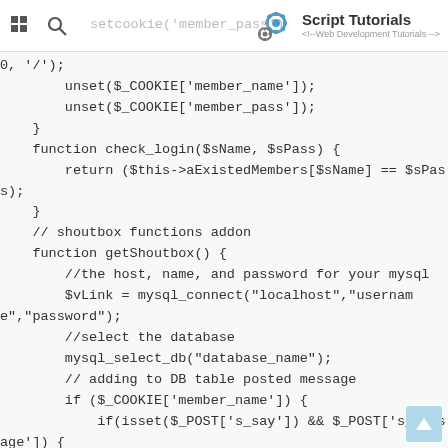Script Tutorials <!-- Web Development Tutorials -->
setcookie('member_pass')
0, '/');
        unset($_COOKIE['member_name']);
        unset($_COOKIE['member_pass']);
    }
    function check_login($sName, $sPass) {
        return ($this->aExistedMembers[$sName] == $sPass);
    }
    // shoutbox functions addon
    function getShoutbox() {
        //the host, name, and password for your mysql
        $vLink = mysql_connect("localhost","username","password");
        //select the database
        mysql_select_db("database_name");
        // adding to DB table posted message
        if ($_COOKIE['member_name']) {
            if(isset($_POST['s_say']) && $_POST['s_message']) {